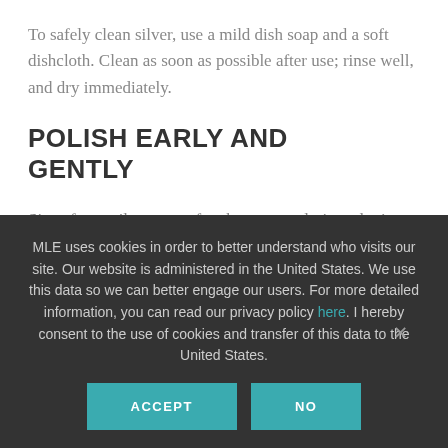To safely clean silver, use a mild dish soap and a soft dishcloth. Clean as soon as possible after use; rinse well, and dry immediately.
POLISH EARLY AND GENTLY
Since fancy silverware often has ornate designs, letting the tarnish go too long makes the cleaning process more difficult. It is easier to polish away light tarnish than heavy tarnish. Spending a few minutes with a couple of dulling pieces is less
MLE uses cookies in order to better understand who visits our site. Our website is administered in the United States. We use this data so we can better engage our users. For more detailed information, you can read our privacy policy here. I hereby consent to the use of cookies and transfer of this data to the United States.